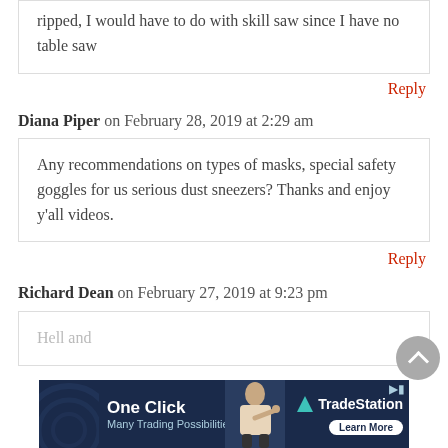ripped, I would have to do with skill saw since I have no table saw
Reply
Diana Piper on February 28, 2019 at 2:29 am
Any recommendations on types of masks, special safety goggles for us serious dust sneezers? Thanks and enjoy y’all videos.
Reply
Richard Dean on February 27, 2019 at 9:23 pm
[Figure (screenshot): Advertisement banner: 'One Click - Many Trading Possibilities!' by TradeStation with a man pointing and a Learn More button]